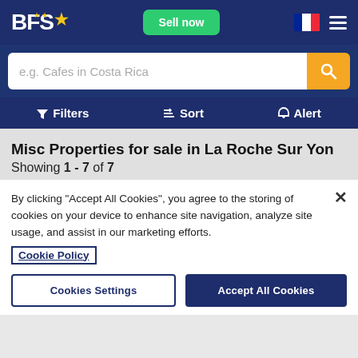BFS — Sell now — [French flag] — [Menu]
e.g. Cafes in Costa Rica
Filters  Sort  Alert
Misc Properties for sale in La Roche Sur Yon
Showing 1 - 7 of 7
By clicking "Accept All Cookies", you agree to the storing of cookies on your device to enhance site navigation, analyze site usage, and assist in our marketing efforts.
Cookie Policy
Cookies Settings   Accept All Cookies